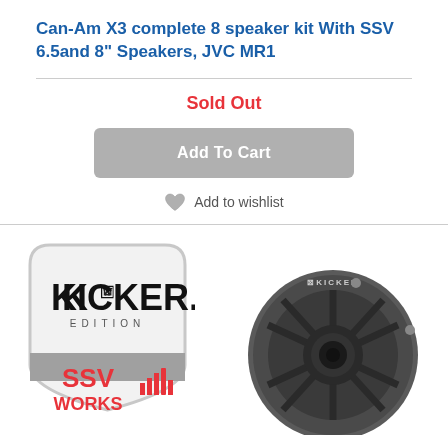Can-Am X3 complete 8 speaker kit With SSV 6.5and 8" Speakers, JVC MR1
Sold Out
Add To Cart
Add to wishlist
[Figure (photo): SSV Works Kicker Edition badge logo on the left, and a Kicker branded marine/UTV speaker (dark grey) on the right]